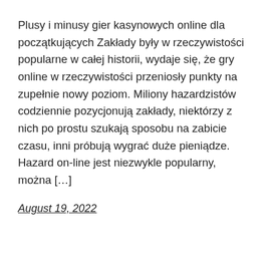Plusy i minusy gier kasynowych online dla początkujących Zakłady były w rzeczywistości popularne w całej historii, wydaje się, że gry online w rzeczywistości przeniosły punkty na zupełnie nowy poziom. Miliony hazardzistów codziennie pozycjonują zakłady, niektórzy z nich po prostu szukają sposobu na zabicie czasu, inni próbują wygrać duże pieniądze. Hazard on-line jest niezwykle popularny, można […]
August 19, 2022